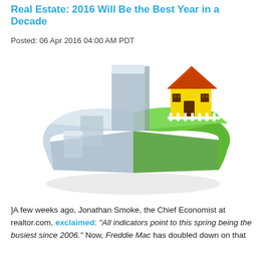Real Estate: 2016 Will Be the Best Year in a Decade
Posted: 06 Apr 2016 04:00 AM PDT
[Figure (infographic): A 3D pie chart style infographic showing a large green segment with a 3D house illustration on top (yellow house with orange/red roof), and a blue/grey segment. Represents real estate growth theme.]
]A few weeks ago, Jonathan Smoke, the Chief Economist at realtor.com, exclaimed: “All indicators point to this spring being the busiest since 2006.” Now, Freddie Mac has doubled down on that